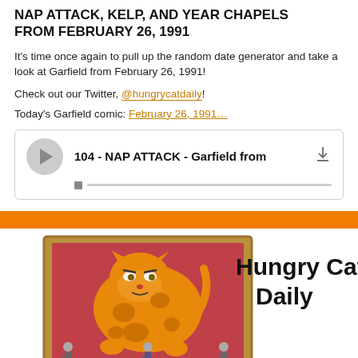NAP ATTACK, KELP, AND YEAR CHAPELS FROM FEBRUARY 26, 1991
It's time once again to pull up the random date generator and take a look at Garfield from February 26, 1991!
Check out our Twitter, @hungrycatdaily!
Today's Garfield comic: February 26, 1991…
[Figure (other): Audio player widget showing episode '104 - NAP ATTACK - Garfield from' with play button, progress bar, and download icon]
[Figure (other): Hungry Cat Daily podcast logo with orange banner bar and illustrated Garfield painting with people viewing it]